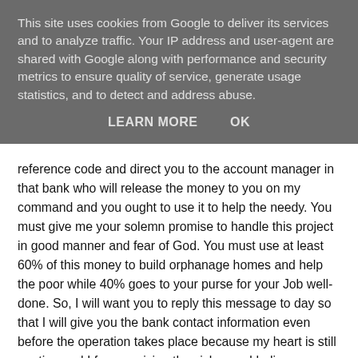This site uses cookies from Google to deliver its services and to analyze traffic. Your IP address and user-agent are shared with Google along with performance and security metrics to ensure quality of service, generate usage statistics, and to detect and address abuse.
LEARN MORE   OK
reference code and direct you to the account manager in that bank who will release the money to you on my command and you ought to use it to help the needy. You must give me your solemn promise to handle this project in good manner and fear of God. You must use at least 60% of this money to build orphanage homes and help the poor while 40% goes to your purse for your Job well-done. So, I will want you to reply this message to day so that I will give you the bank contact information even before the operation takes place because my heart is still panting and I fear surviving the sickness. I believe you will not betray this trust because if you use this money to help the poor on our name, I, and my Husband will find peace wherever our souls maybe. And you will also find happiness in life.